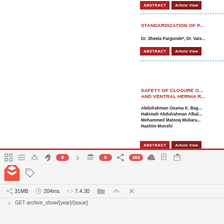[Figure (screenshot): Two red buttons: ABSTRACT and Article View at the top of the right column, partially visible from previous article entry]
STANDARDIZATION OF P...
Dr. Sheela Pargunde*, Dr. Vais...
[Figure (screenshot): Two red buttons: ABSTRACT and Article View for Standardization article]
SAFETY OF CLOSURE O... AND VENTRAL HERNIA R...
Abdulrahman Osama K. Bag... Hakimah Abdulrahman Albal... Mohammed Matooq Mubara... Hashim Munshi
[Figure (screenshot): Two red buttons: ABSTRACT and Article View for Safety article]
AEROBIC EXERCISE IN... DISORDERS: A SYSTEMA...
Marwa Saber Alarfi, Ad...
[Figure (screenshot): Laravel debug bar toolbar with icons, badges (8, 6, 163), stats: 31MB, 204ms, 7.4.30, and route: GET archive_show/{year}/{issue}]